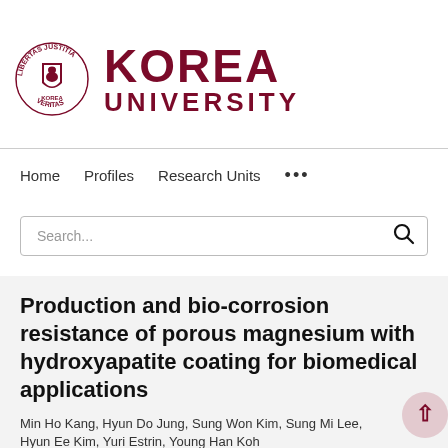[Figure (logo): Korea University logo: circular seal with text LIBERTAS JUSTITIA VERITAS around border and red shield emblem, beside text KOREA UNIVERSITY in dark red/maroon bold letters]
Home   Profiles   Research Units   ...
Production and bio-corrosion resistance of porous magnesium with hydroxyapatite coating for biomedical applications
Min Ho Kang, Hyun Do Jung, Sung Won Kim, Sung Mi Lee, Hyun Ee Kim, Yuri Estrin, Young Han Koh